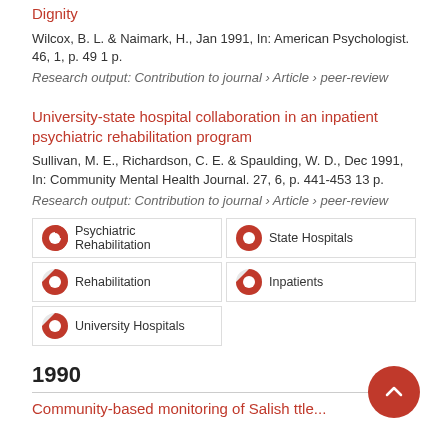Dignity
Wilcox, B. L. & Naimark, H., Jan 1991, In: American Psychologist. 46, 1, p. 49 1 p.
Research output: Contribution to journal › Article › peer-review
University-state hospital collaboration in an inpatient psychiatric rehabilitation program
Sullivan, M. E., Richardson, C. E. & Spaulding, W. D., Dec 1991, In: Community Mental Health Journal. 27, 6, p. 441-453 13 p.
Research output: Contribution to journal › Article › peer-review
Psychiatric Rehabilitation
State Hospitals
Rehabilitation
Inpatients
University Hospitals
1990
Community-based monitoring of Salish ttle...